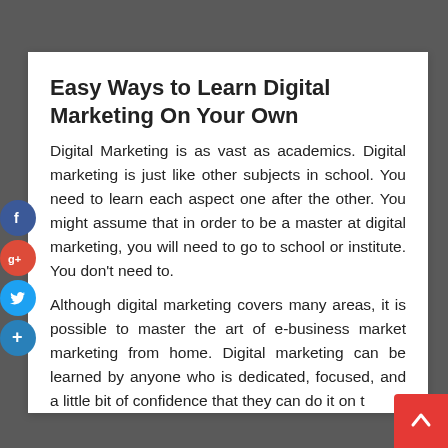Easy Ways to Learn Digital Marketing On Your Own
Digital Marketing is as vast as academics. Digital marketing is just like other subjects in school. You need to learn each aspect one after the other. You might assume that in order to be a master at digital marketing, you will need to go to school or institute. You don't need to.
Although digital marketing covers many areas, it is possible to master the art of e-business market marketing from home. Digital marketing can be learned by anyone who is dedicated, focused, and a little bit of confidence that they can do it on t…